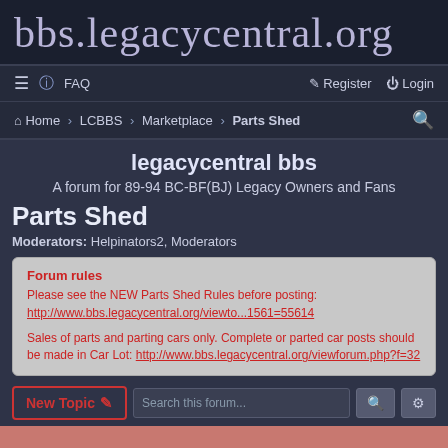bbs.legacycentral.org
≡  ? FAQ    Register  Login
Home › LCBBS › Marketplace › Parts Shed
legacycentral bbs
A forum for 89-94 BC-BF(BJ) Legacy Owners and Fans
Parts Shed
Moderators: Helpinators2, Moderators
Forum rules
Please see the NEW Parts Shed Rules before posting:
http://www.bbs.legacycentral.org/viewto...1561=55614

Sales of parts and parting cars only. Complete or parted car posts should be made in Car Lot: http://www.bbs.legacycentral.org/viewforum.php?f=32
New Topic  Search this forum...
8447 topics  1 2 3 4 5 ... 169 >